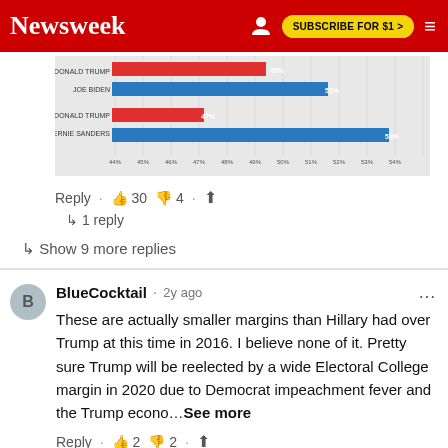Newsweek | SUBSCRIBE FOR $1 >
[Figure (bar-chart): Poll matchup chart]
Reply · 👍 30 👎 4 · ↑
↳ 1 reply
↳ Show 9 more replies
BlueCocktail · 2y ago
These are actually smaller margins than Hillary had over Trump at this time in 2016. I believe none of it. Pretty sure Trump will be reelected by a wide Electoral College margin in 2020 due to Democrat impeachment fever and the Trump econo…See more
Reply · 👍 2 👎 2 · ↑
↳ 1 reply